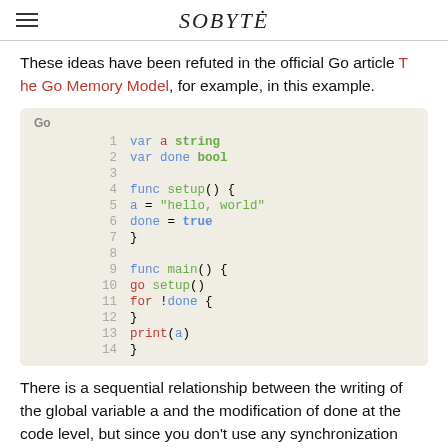SOBYTE
These ideas have been refuted in the official Go article The Go Memory Model, for example, in this example.
[Figure (screenshot): Go code block with syntax highlighting showing variable declarations, setup() and main() functions with goroutine usage]
There is a sequential relationship between the writing of the global variable a and the modification of done at the code level, but since you don't use any synchronization